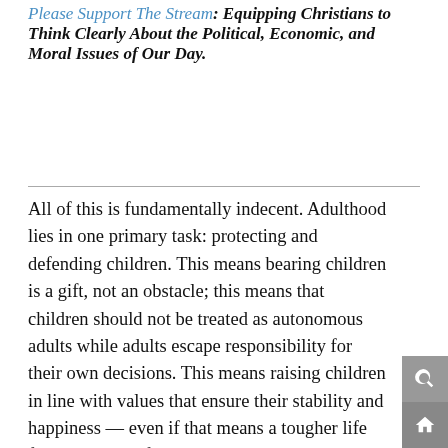Please Support The Stream: Equipping Christians to Think Clearly About the Political, Economic, and Moral Issues of Our Day.
All of this is fundamentally indecent. Adulthood lies in one primary task: protecting and defending children. This means bearing children is a gift, not an obstacle; this means that children should not be treated as autonomous adults while adults escape responsibility for their own decisions. This means raising children in line with values that ensure their stability and happiness — even if that means a tougher life for adults. All of that begins with a basic supposition the Left refuses to countenance: that they are not the center of creation, but that their children ought to b